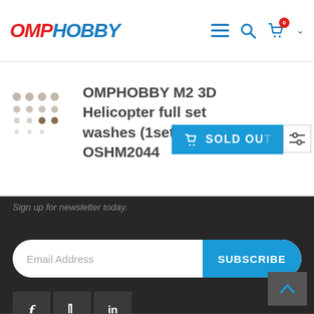OMPHOBBY
OMPHOBBY M2 3D Helicopter full set washes (1set) OSHM2044
SOLD OUT
Sign up for newsletter today.
Email Address
SUBSCRIBE
[Figure (illustration): Social media icons: Facebook (f), Twitter (bird/y), LinkedIn (in) in dark square boxes]